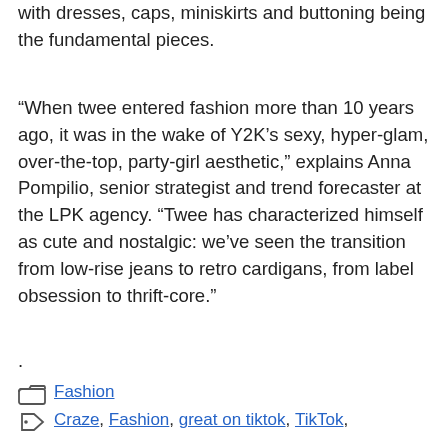with dresses, caps, miniskirts and buttoning being the fundamental pieces.
“When twee entered fashion more than 10 years ago, it was in the wake of Y2K’s sexy, hyper-glam, over-the-top, party-girl aesthetic,” explains Anna Pompilio, senior strategist and trend forecaster at the LPK agency. “Twee has characterized himself as cute and nostalgic: we’ve seen the transition from low-rise jeans to retro cardigans, from label obsession to thrift-core.”
.
Fashion
Craze, Fashion, great on tiktok, TikTok,